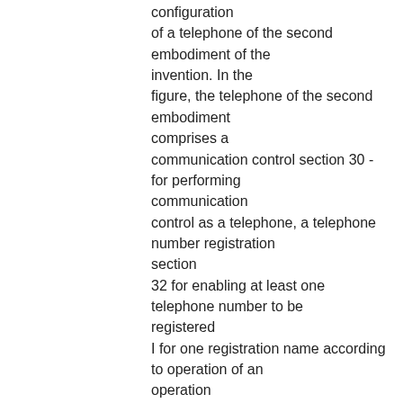configuration of a telephone of the second embodiment of the invention. In the figure, the telephone of the second embodiment comprises a communication control section 30 -for performing communication control as a telephone, a telephone number registration section 32 for enabling at least one telephone number to be registered I for one registration name according to operation of an operation section 31, a telephone number retrieval section 33 for retrieving a registered telephone number in the telephone number registration section 32, a telephone network type determination section 34 for determining the communication network type for the found telephone number after the retrieval, and a display section